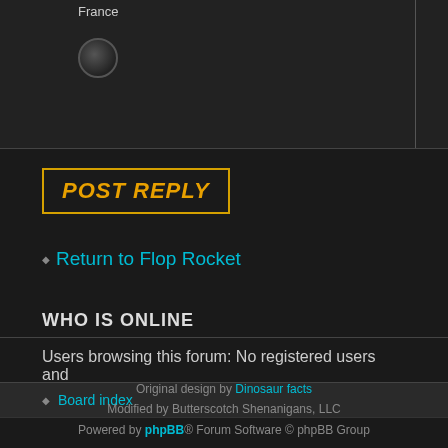France
[Figure (illustration): Globe icon image]
[Figure (other): POST REPLY button with yellow/orange text and border]
Return to Flop Rocket
WHO IS ONLINE
Users browsing this forum: No registered users and
Board index
Original design by Dinosaur facts
Modified by Butterscotch Shenanigans, LLC
Powered by phpBB® Forum Software © phpBB Group